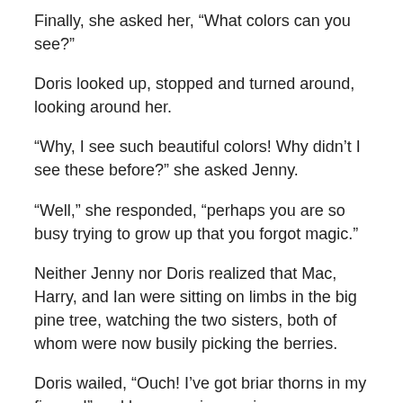Finally, she asked her, “What colors can you see?”
Doris looked up, stopped and turned around, looking around her.
“Why, I see such beautiful colors! Why didn’t I see these before?” she asked Jenny.
“Well,” she responded, “perhaps you are so busy trying to grow up that you forgot magic.”
Neither Jenny nor Doris realized that Mac, Harry, and Ian were sitting on limbs in the big pine tree, watching the two sisters, both of whom were now busily picking the berries.
Doris wailed, “Ouch! I’ve got briar thorns in my fingers!” and began crying again.